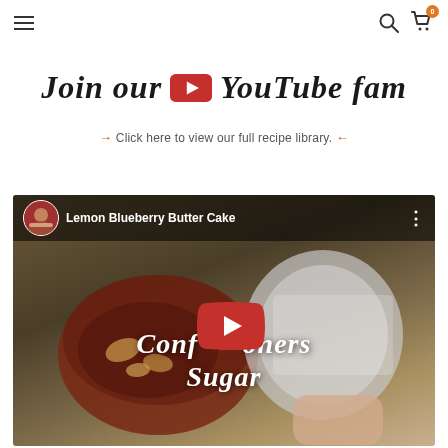Navigation bar with hamburger menu, search icon, and cart icon (badge: 0)
[Figure (screenshot): Join our YouTube fam banner with YouTube logo icon and script/italic bold text]
→ Click here to view our full recipe library. ←
[Figure (screenshot): YouTube video embed thumbnail showing 'Lemon Blueberry Butter Cake' with channel avatar, title text, three-dot menu, YouTube play button, and overlaid text 'Confectioners Sugar']